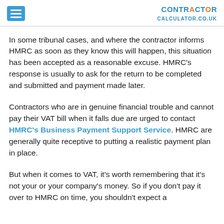CONTRACTOR CALCULATOR.CO.UK
In some tribunal cases, and where the contractor informs HMRC as soon as they know this will happen, this situation has been accepted as a reasonable excuse. HMRC's response is usually to ask for the return to be completed and submitted and payment made later.
Contractors who are in genuine financial trouble and cannot pay their VAT bill when it falls due are urged to contact HMRC's Business Payment Support Service. HMRC are generally quite receptive to putting a realistic payment plan in place.
But when it comes to VAT, it's worth remembering that it's not your or your company's money. So if you don't pay it over to HMRC on time, you shouldn't expect a